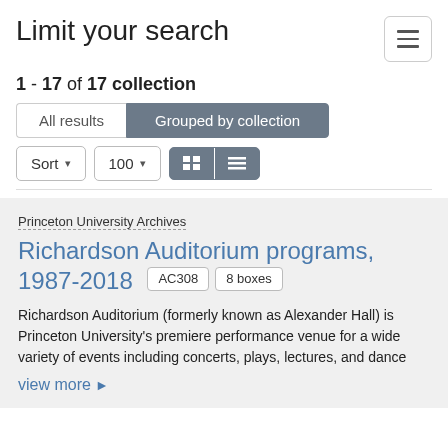Limit your search
1 - 17 of 17 collection
All results | Grouped by collection
Sort | 100
Princeton University Archives
Richardson Auditorium programs, 1987-2018 AC308 8 boxes
Richardson Auditorium (formerly known as Alexander Hall) is Princeton University's premiere performance venue for a wide variety of events including concerts, plays, lectures, and dance
view more ▶